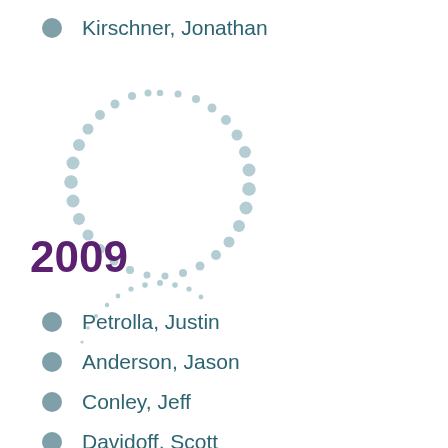Kirschner, Jonathan
[Figure (other): Decorative dotted circle arc in light teal/grey dots forming a circular pattern around year label 2009]
2009
Petrolla, Justin
Anderson, Jason
Conley, Jeff
Davidoff, Scott
Kothari, Gautham